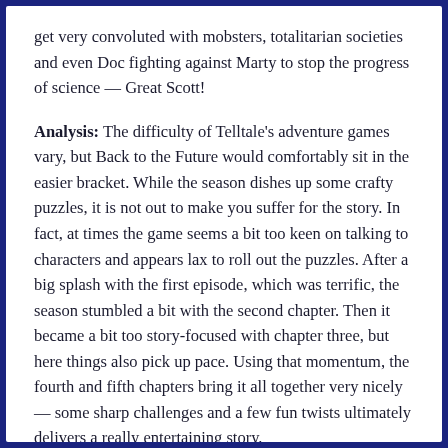get very convoluted with mobsters, totalitarian societies and even Doc fighting against Marty to stop the progress of science — Great Scott!
Analysis: The difficulty of Telltale's adventure games vary, but Back to the Future would comfortably sit in the easier bracket. While the season dishes up some crafty puzzles, it is not out to make you suffer for the story. In fact, at times the game seems a bit too keen on talking to characters and appears lax to roll out the puzzles. After a big splash with the first episode, which was terrific, the season stumbled a bit with the second chapter. Then it became a bit too story-focused with chapter three, but here things also pick up pace. Using that momentum, the fourth and fifth chapters bring it all together very nicely — some sharp challenges and a few fun twists ultimately delivers a really entertaining story.